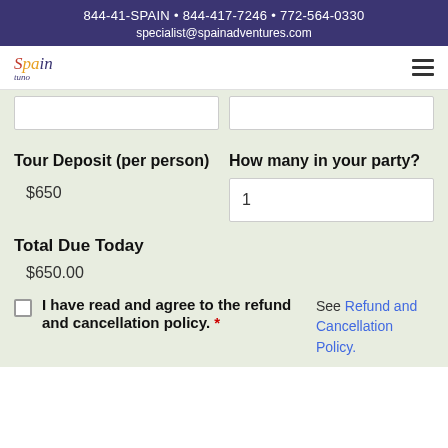844-41-SPAIN • 844-417-7246 • 772-564-0330
specialist@spainadventures.com
Tour Deposit (per person)
$650
How many in your party?
1
Total Due Today
$650.00
I have read and agree to the refund and cancellation policy. * See Refund and Cancellation Policy.